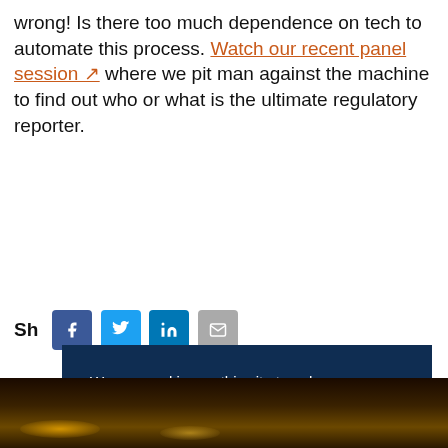wrong! Is there too much dependence on tech to automate this process. Watch our recent panel session [icon] where we pit man against the machine to find out who or what is the ultimate regulatory reporter.
Share This:
[Figure (screenshot): Social share icons: Facebook (blue), Twitter (light blue), LinkedIn (dark blue), Email (grey)]
We use cookies on this site to enhance your user experience.
Review privacy policy
Dismiss
[Figure (photo): Dark amber/orange city lights bokeh image strip at the bottom of the page]